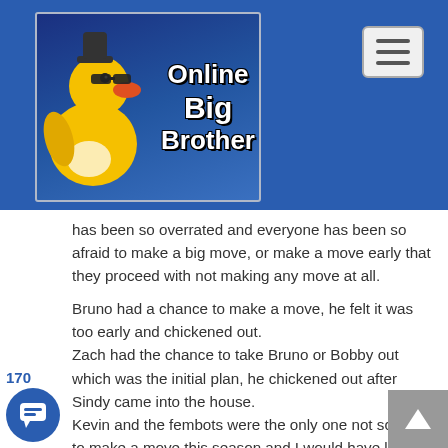Online Big Brother
has been so overrated and everyone has been so afraid to make a big move, or make a move early that they proceed with not making any move at all.
Bruno had a chance to make a move, he felt it was too early and chickened out.
Zach had the chance to take Bruno or Bobby out which was the initial plan, he chickened out after Sindy came into the house.
Kevin and the fembots were the only one not scared to make a move this season and I would have liked Kevin to stay in the game for longer.
Big Brother was fun and enjoyable without needing any twists when there were two sides in the house winning back and forth. However, when there is a big alliance dominating and noone wants to ruffle feathers, imo, the